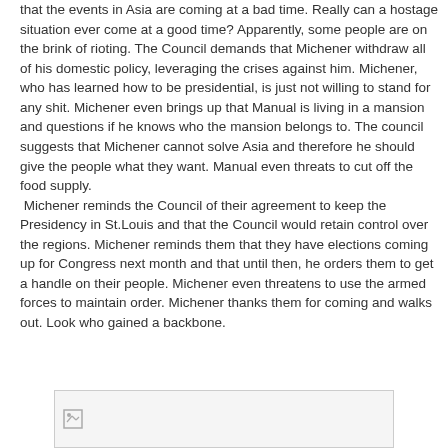that the events in Asia are coming at a bad time.  Really can a hostage situation ever come at a good time? Apparently, some people are on the brink of rioting. The Council demands that Michener withdraw all of his domestic policy, leveraging the crises against him.  Michener, who has learned how to be presidential, is just not willing to stand for any shit. Michener even brings up that Manual is living in a mansion and questions if he knows who the mansion belongs to.  The council suggests that Michener cannot solve Asia and therefore he should give the people what they want. Manual even threats to cut off the food supply.
 Michener reminds the Council of their agreement to keep the Presidency in St.Louis and that the Council would retain control over the regions.  Michener reminds them that they have elections coming up for Congress next month and that until then, he orders them to get a handle on their people. Michener even threatens to use the armed forces to maintain order. Michener thanks them for coming and walks out. Look who gained a backbone.
[Figure (other): Broken/placeholder image icon inside a bordered rectangle at the bottom center of the page]